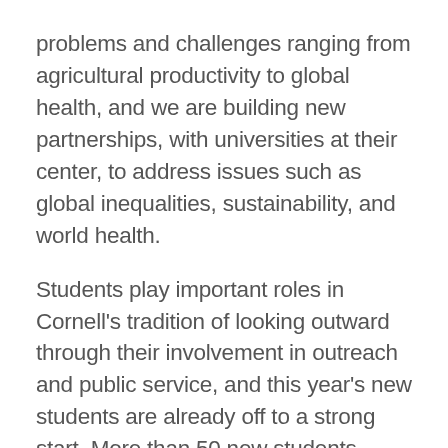problems and challenges ranging from agricultural productivity to global health, and we are building new partnerships, with universities at their center, to address issues such as global inequalities, sustainability, and world health.
Students play important roles in Cornell's tradition of looking outward through their involvement in outreach and public service, and this year's new students are already off to a strong start. More than 50 new students arrived on campus a week early to participate